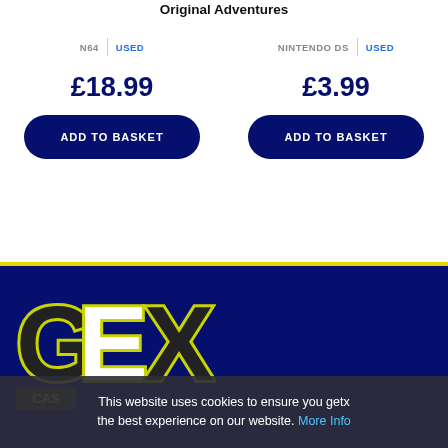Original Adventures
N64 | USED
£18.99
ADD TO BASKET
NINTENDO DS | USED
£3.99
ADD TO BASKET
[Figure (logo): GEX logo with yellow outline on dark navy background, with CAS text below]
This website uses cookies to ensure you getx the best experience on our website. More Info